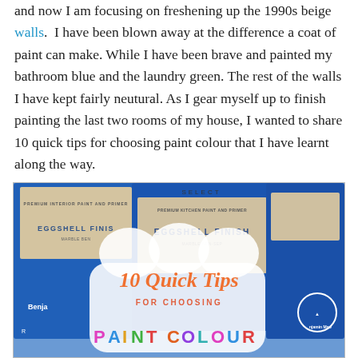and now I am focusing on freshening up the 1990s beige walls.  I have been blown away at the difference a coat of paint can make. While I have been brave and painted my bathroom blue and the laundry green. The rest of the walls I have kept fairly neutural. As I gear myself up to finish painting the last two rooms of my house, I wanted to share 10 quick tips for choosing paint colour that I have learnt along the way.
[Figure (photo): Photo of blue paint cans with 'EGGSHELL FINISH' labels and a badge overlay reading '10 Quick Tips FOR CHOOSING PAINT COLOUR' in decorative text]